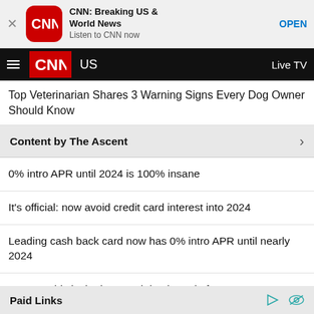[Figure (screenshot): CNN app banner ad with CNN logo, app name 'CNN: Breaking US & World News', subtitle 'Listen to CNN now', and OPEN button]
CNN US | Live TV
Top Veterinarian Shares 3 Warning Signs Every Dog Owner Should Know
Content by The Ascent
0% intro APR until 2024 is 100% insane
It's official: now avoid credit card interest into 2024
Leading cash back card now has 0% intro APR until nearly 2024
Experts: this is the best cash back card of 2022
A slam dunk if you need a balance transfer (21 months)
Paid Links